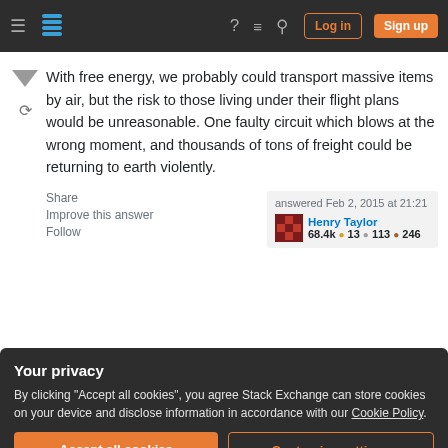Stack Exchange navigation bar with hamburger menu, logo, help, chat, search icons, Log in and Sign up buttons
With free energy, we probably could transport massive items by air, but the risk to those living under their flight plans would be unreasonable. One faulty circuit which blows at the wrong moment, and thousands of tons of freight could be returning to earth violently.
Share
Improve this answer
Follow

answered Feb 2, 2015 at 21:21
Henry Taylor
68.4k ● 13 ● 113 ● 246
Your privacy
By clicking "Accept all cookies", you agree Stack Exchange can store cookies on your device and disclose information in accordance with our Cookie Policy.
Accept all cookies   Customize settings
doesn't seem to be evidence that this would change in the future, nor does it seem that the minuscule